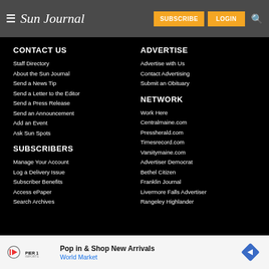Sun Journal — SUBSCRIBE | LOGIN
CONTACT US
Staff Directory
About the Sun Journal
Send a News Tip
Send a Letter to the Editor
Send a Press Release
Send an Announcement
Add an Event
Ask Sun Spots
SUBSCRIBERS
Manage Your Account
Log a Delivery Issue
Subscriber Benefits
Access ePaper
Search Archives
ADVERTISE
Advertise with Us
Contact Advertising
Submit an Obituary
NETWORK
Work Here
Centralmaine.com
Pressherald.com
Timesrecord.com
Varsitymaine.com
Advertiser Democrat
Bethel Citizen
Franklin Journal
Livermore Falls Advertiser
Rangeley Highlander
Pop in & Shop New Arrivals World Market